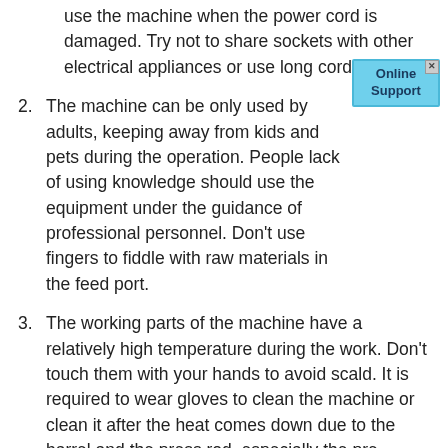use the machine when the power cord is damaged. Try not to share sockets with other electrical appliances or use long cords.
2. The machine can be only used by adults, keeping away from kids and pets during the operation. People lack of using knowledge should use the equipment under the guidance of professional personnel. Don't use fingers to fiddle with raw materials in the feed port.
3. The working parts of the machine have a relatively high temperature during the work. Don't touch them with your hands to avoid scald. It is required to wear gloves to clean the machine or clean it after the heat comes down due to the barrel and the press rod, especially the pre-heating parts, have a relatively high temperature.
4. Keep it away from high temperature, high humidity and open fire, and avoid long hours of direct sunlight. Place